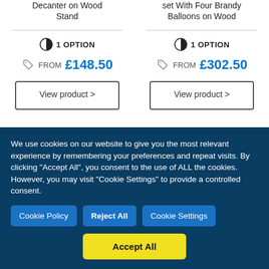Decanter on Wood Stand
set With Four Brandy Balloons on Wood
1 OPTION
FROM £148.50
View product >
1 OPTION
FROM £302.50
View product >
We use cookies on our website to give you the most relevant experience by remembering your preferences and repeat visits. By clicking "Accept All", you consent to the use of ALL the cookies. However, you may visit "Cookie Settings" to provide a controlled consent.
Cookie Policy
Reject All
Cookie Settings
Accept All